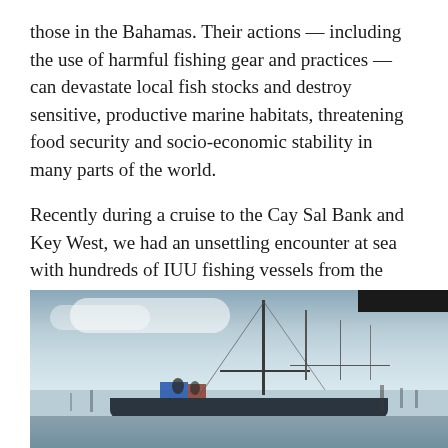those in the Bahamas. Their actions — including the use of harmful fishing gear and practices — can devastate local fish stocks and destroy sensitive, productive marine habitats, threatening food security and socio-economic stability in many parts of the world.
Recently during a cruise to the Cay Sal Bank and Key West, we had an unsettling encounter at sea with hundreds of IUU fishing vessels from the Dominican Republic.
[Figure (photo): A photograph of a fishing vessel at sea, showing the mast, rigging, and deck equipment with crew members visible, taken from another boat. The sky is overcast with light clouds.]